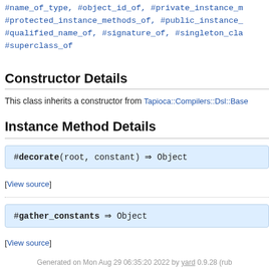#name_of_type, #object_id_of, #private_instance_m... #protected_instance_methods_of, #public_instance_... #qualified_name_of, #signature_of, #singleton_cla... #superclass_of
Constructor Details
This class inherits a constructor from Tapioca::Compilers::Dsl::Base
Instance Method Details
#decorate(root, constant) ⇒ Object
[View source]
#gather_constants ⇒ Object
[View source]
Generated on Mon Aug 29 06:35:20 2022 by yard 0.9.28 (rub